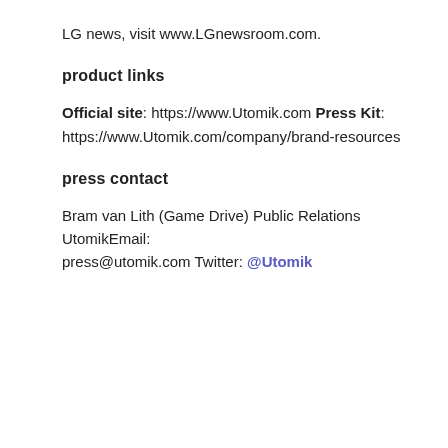LG news, visit www.LGnewsroom.com.
product links
Official site: https://www.Utomik.com Press Kit: https://www.Utomik.com/company/brand-resources
press contact
Bram van Lith (Game Drive) Public Relations UtomikEmail: press@utomik.com Twitter: @Utomik